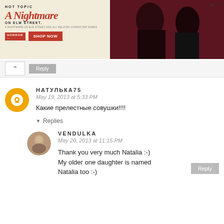[Figure (screenshot): Hot Topic advertisement banner for A Nightmare on Elm Street merchandise with two people in dark clothing on a red background]
Reply
НАТУЛЬКА75
May 19, 2013 at 5:33 PM
Какие прелестные совушки!!!!
Reply
Replies
VENDULKA
May 20, 2013 at 11:15 PM
Thank you very much Natalia :-) My older one daughter is named Natalia too :-)